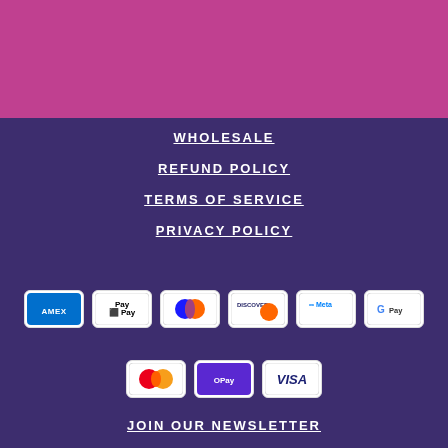[Figure (illustration): Pink/magenta banner section at top of page]
WHOLESALE
REFUND POLICY
TERMS OF SERVICE
PRIVACY POLICY
[Figure (infographic): Payment method logos: American Express, Apple Pay, Diners Club, Discover, Meta Pay, Google Pay, Mastercard, OPay, Visa]
JOIN OUR NEWSLETTER